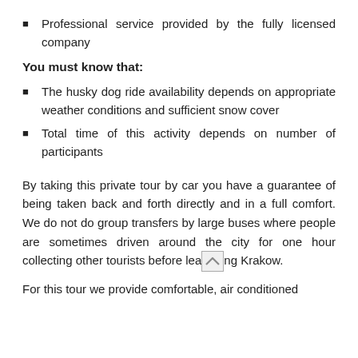Professional service provided by the fully licensed company
You must know that:
The husky dog ride availability depends on appropriate weather conditions and sufficient snow cover
Total time of this activity depends on number of participants
By taking this private tour by car you have a guarantee of being taken back and forth directly and in a full comfort. We do not do group transfers by large buses where people are sometimes driven around the city for one hour collecting other tourists before leaving Krakow.
For this tour we provide comfortable, air conditioned